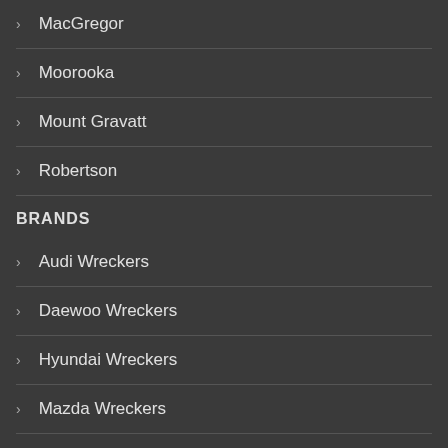MacGregor
Moorooka
Mount Gravatt
Robertson
BRANDS
Audi Wreckers
Daewoo Wreckers
Hyundai Wreckers
Mazda Wreckers
Subaru Wreckers
View All Brands